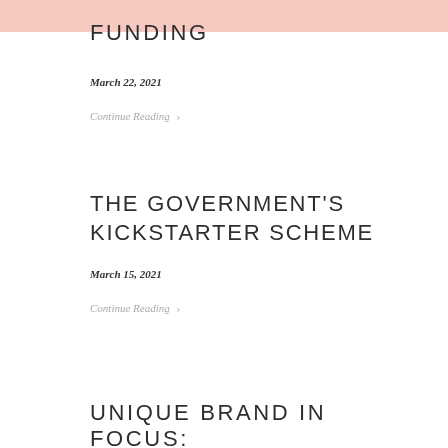FUNDING
March 22, 2021
Continue Reading >
THE GOVERNMENT'S KICKSTARTER SCHEME
March 15, 2021
Continue Reading >
UNIQUE BRAND IN FOCUS: